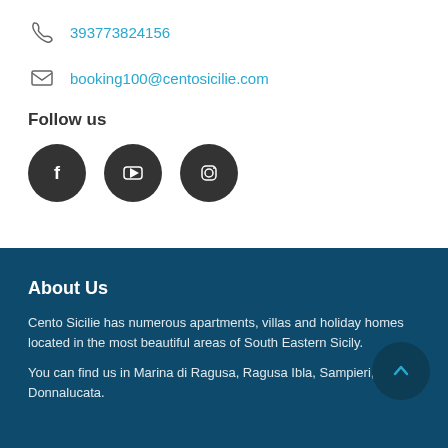393773824156
booking100@centosicilie.com
Follow us
[Figure (illustration): Three social media icons: Facebook, YouTube, Instagram — dark circular buttons]
About Us
Cento Sicilie has numerous apartments, villas and holiday homes located in the most beautiful areas of South Eastern Sicily.
You can find us in Marina di Ragusa, Ragusa Ibla, Sampieri, Scicli, Donnalucata.